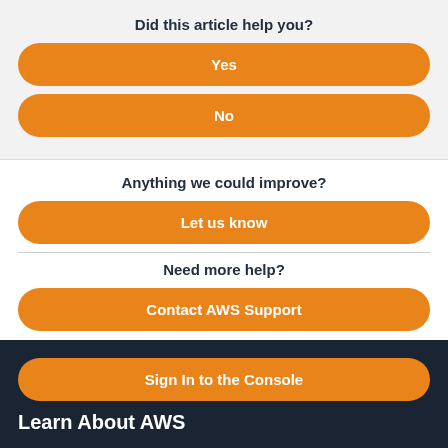Did this article help you?
Yes
No
Anything we could improve?
Let us know
Need more help?
Contact AWS Support
Sign In to the Console
Learn About AWS